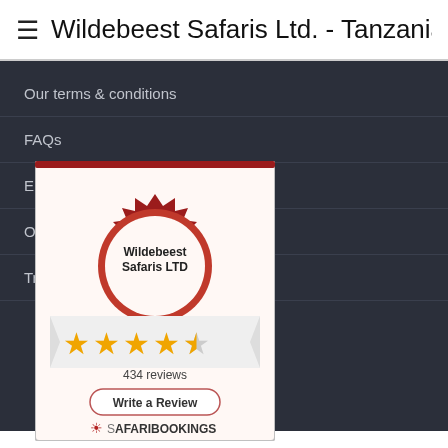≡  Wildebeest Safaris Ltd. - Tanzania De
Our terms & conditions
FAQs
Enquiries
Our drivers and vehicles
Traveller reviews
[Figure (other): SafariBookings badge showing Wildebeest Safaris LTD with 4.5 star rating, 434 reviews, and a 'Write a Review' button]